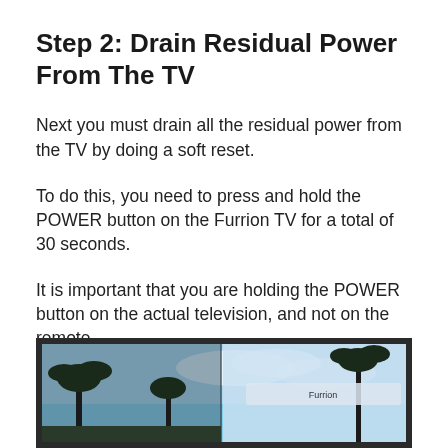Step 2: Drain Residual Power From The TV
Next you must drain all the residual power from the TV by doing a soft reset.
To do this, you need to press and hold the POWER button on the Furrion TV for a total of 30 seconds.
It is important that you are holding the POWER button on the actual television, and not on the remote.
[Figure (photo): Photo of a Furrion television displaying a tropical/beach scene with palm trees and sky, shown partially cropped at the bottom of the page.]